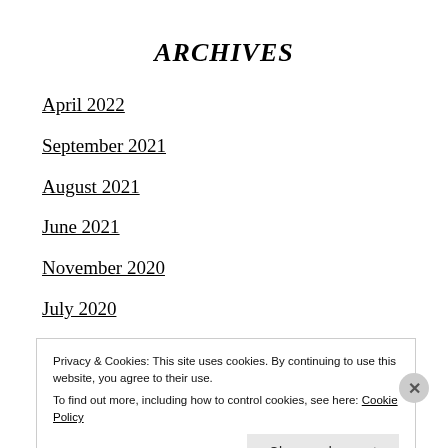ARCHIVES
April 2022
September 2021
August 2021
June 2021
November 2020
July 2020
March 2020
January 2020
Privacy & Cookies: This site uses cookies. By continuing to use this website, you agree to their use.
To find out more, including how to control cookies, see here: Cookie Policy
Close and accept